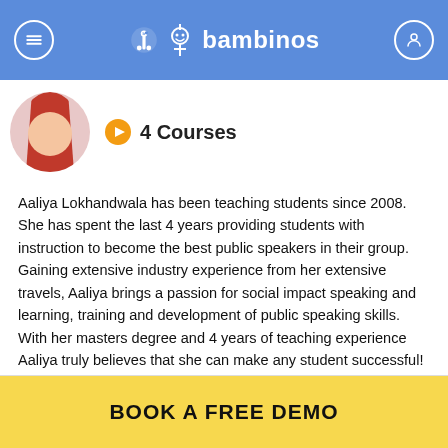bambinos
4 Courses
Aaliya Lokhandwala has been teaching students since 2008. She has spent the last 4 years providing students with instruction to become the best public speakers in their group. Gaining extensive industry experience from her extensive travels, Aaliya brings a passion for social impact speaking and learning, training and development of public speaking skills. With her masters degree and 4 years of teaching experience Aaliya truly believes that she can make any student successful!
BOOK A FREE DEMO